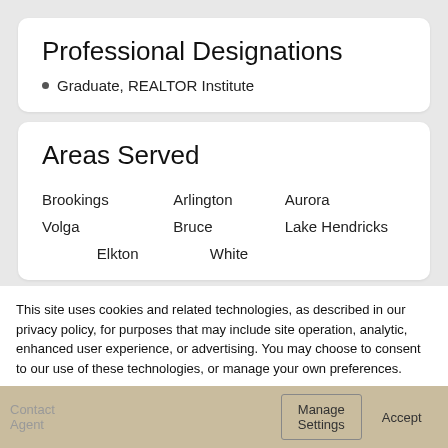Professional Designations
Graduate, REALTOR Institute
Areas Served
Brookings
Arlington
Aurora
Volga
Bruce
Lake Hendricks
Elkton
White
This site uses cookies and related technologies, as described in our privacy policy, for purposes that may include site operation, analytics, enhanced user experience, or advertising. You may choose to consent to our use of these technologies, or manage your own preferences.